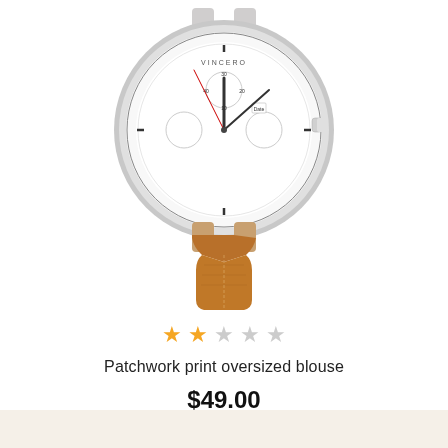[Figure (photo): A chronograph watch with white dial, silver case, and brown leather strap, shown from the front at a slight angle. The watch face shows multiple subdials and a red second hand. The brand name appears at the top of the dial.]
★ ★ ☆ ☆ ☆
Patchwork print oversized blouse
$49.00